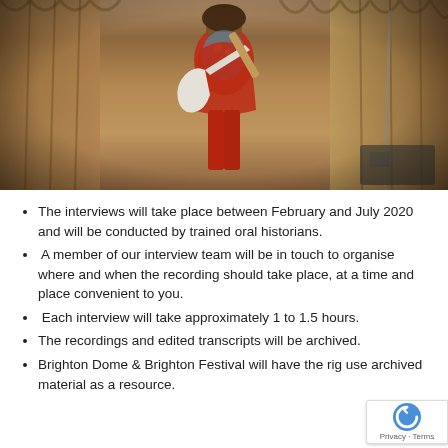[Figure (photo): A guitarist in a red outfit performing on stage with a white electric guitar, in front of dark draped curtains, vintage photograph]
The interviews will take place between February and July 2020 and will be conducted by trained oral historians.
A member of our interview team will be in touch to organise where and when the recording should take place, at a time and place convenient to you.
Each interview will take approximately 1 to 1.5 hours.
The recordings and edited transcripts will be archived.
Brighton Dome & Brighton Festival will have the rig… use archived material as a resource.